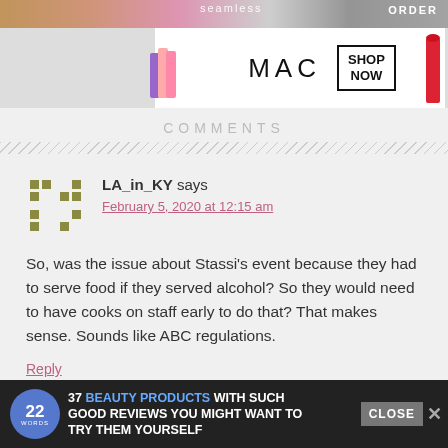[Figure (advertisement): MAC cosmetics banner ad with lipsticks and SHOP NOW button]
COMMENTS
[Figure (other): User avatar icon for LA_in_KY, olive/khaki colored pixel art style icon]
LA_in_KY says
February 5, 2020 at 12:15 am
So, was the issue about Stassi's event because they had to serve food if they served alcohol? So they would need to have cooks on staff early to do that? That makes sense. Sounds like ABC regulations.
Reply
[Figure (advertisement): Bottom banner ad: 37 BEAUTY PRODUCTS WITH SUCH GOOD REVIEWS YOU MIGHT WANT TO TRY THEM YOURSELF, with 22 Words badge]